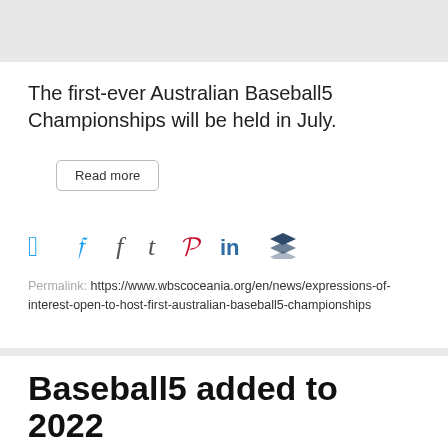The first-ever Australian Baseball5 Championships will be held in July.
Read more
[Figure (other): Social share icons: Twitter (blue bird), Facebook (f), Tumblr (t), Pinterest (P), LinkedIn (in), Buffer (stacked layers)]
Permalink: https://www.wbscoceania.org/en/news/expressions-of-interest-open-to-host-first-australian-baseball5-championships
Baseball5 added to 2022